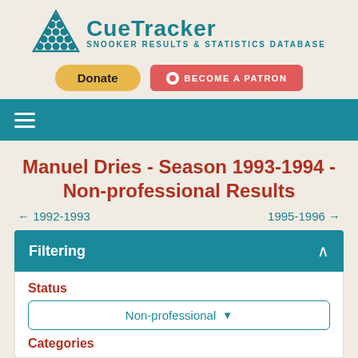[Figure (logo): CueTracker logo with triangle of snooker balls and text 'CueTracker Snooker Results & Statistics Database']
Donate
BECOME A PATRON
Manuel Dries - Season 1993-1994 - Non-professional Results
← 1992-1993
1995-1996 →
Filtering
Status
Non-professional
Categories